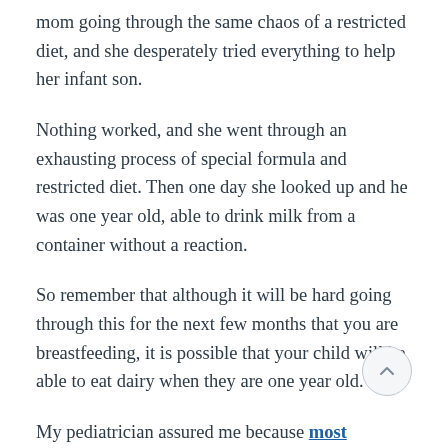mom going through the same chaos of a restricted diet, and she desperately tried everything to help her infant son.
Nothing worked, and she went through an exhausting process of special formula and restricted diet. Then one day she looked up and he was one year old, able to drink milk from a container without a reaction.
So remember that although it will be hard going through this for the next few months that you are breastfeeding, it is possible that your child will be able to eat dairy when they are one year old.
My pediatrician assured me because most children grow out of this phase and are able to drink milk